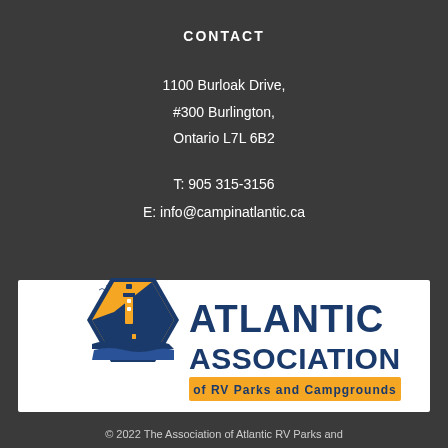CONTACT
1100 Burloak Drive,
#300 Burlington,
Ontario L7L 6B2
T: 905 315-3156
E: info@campinatlantic.ca
[Figure (logo): Atlantic Association of RV Parks and Campgrounds logo: hexagonal badge with lighthouse and coastal scene in blue and orange, bold text 'ATLANTIC ASSOCIATION' in dark blue, subtitle 'of RV Parks and Campgrounds' on orange banner.]
© 2022 The Association of Atlantic RV Parks and